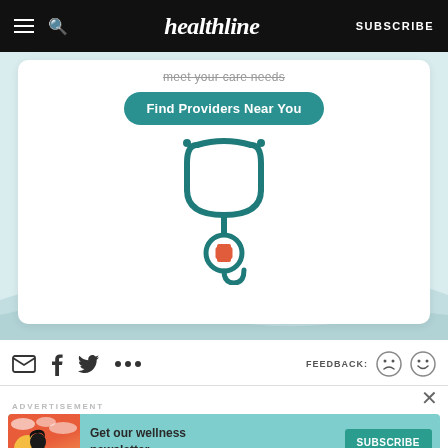healthline | SUBSCRIBE
[Figure (illustration): Healthcare provider finder illustration with a teal 'Find Providers Near You' button and a stethoscope with red cross icon on a light blue background with white card]
meet your care needs
Find Providers Near You
[Figure (illustration): Social sharing icons: email, facebook, twitter, more (ellipsis). Feedback section with sad and happy face emoji buttons. Close X button.]
FEEDBACK:
ADVERTISEMENT
[Figure (illustration): Advertisement banner: Get our wellness newsletter. SUBSCRIBE button. Teal background with illustrated woman and clouds on the left.]